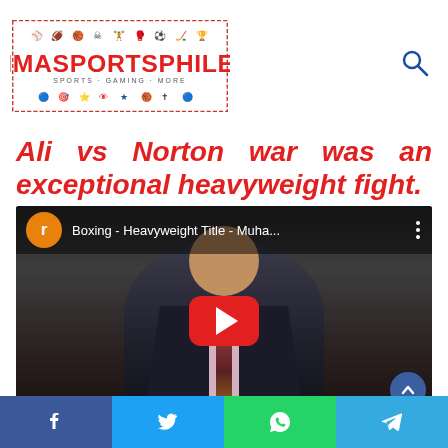IMASPORTSPHILE
Ali vs Norton war was an exceptional heavyweight fight.
[Figure (screenshot): YouTube video thumbnail showing a man in a suit with the YouTube play button overlay. Video title: Boxing - Heavyweight Title - Muha...]
Social sharing bar: Facebook, Twitter, WhatsApp, Telegram